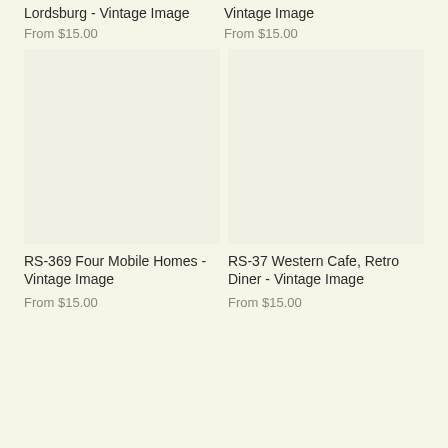Lordsburg - Vintage Image
From $15.00
Vintage Image
From $15.00
[Figure (photo): Product image placeholder for RS-369 Four Mobile Homes - Vintage Image]
[Figure (photo): Product image placeholder for RS-37 Western Cafe, Retro Diner - Vintage Image]
RS-369 Four Mobile Homes - Vintage Image
From $15.00
RS-37 Western Cafe, Retro Diner - Vintage Image
From $15.00